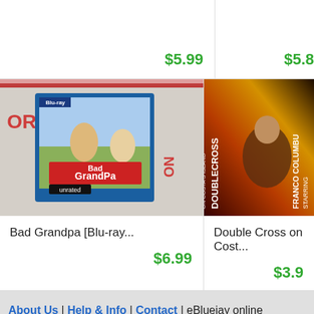$5.99
$5.8...
[Figure (photo): Bad Grandpa Blu-ray disc cover propped on mail envelope]
Bad Grandpa [Blu-ray...
$6.99
[Figure (photo): Double Cross on Costa's Island DVD cover showing Franco Columbu]
Double Cross on Cost...
$3.9...
About Us | Help & Info | Contact | eBluejay online marketplace